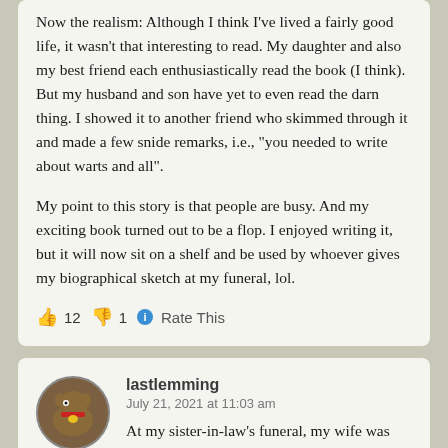Now the realism: Although I think I've lived a fairly good life, it wasn't that interesting to read. My daughter and also my best friend each enthusiastically read the book (I think). But my husband and son have yet to even read the darn thing. I showed it to another friend who skimmed through it and made a few snide remarks, i.e., "you needed to write about warts and all".

My point to this story is that people are busy. And my exciting book turned out to be a flop. I enjoyed writing it, but it will now sit on a shelf and be used by whoever gives my biographical sketch at my funeral, lol.
👍 12 👎 1 ℹ Rate This
lastlemming
July 21, 2021 at 11:03 am
At my sister-in-law's funeral, my wife was